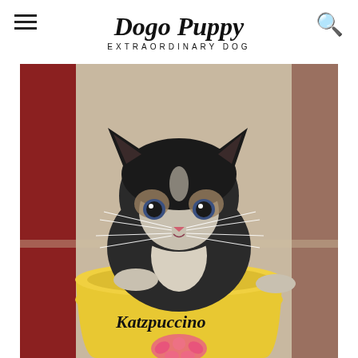Dogo Puppy — EXTRAORDINARY DOG
[Figure (photo): A small black and white kitten sitting inside a yellow cup/mug labeled 'Katzpuccino', looking directly at the camera with wide eyes and long whiskers. A pink floral logo is visible on the lower part of the cup.]